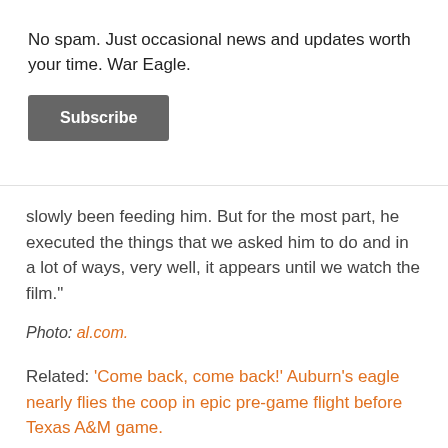No spam. Just occasional news and updates worth your time. War Eagle.
Subscribe
slowly been feeding him. But for the most part, he executed the things that we asked him to do and in a lot of ways, very well, it appears until we watch the film."
Photo: al.com.
Related: ‘Come back, come back!’ Auburn’s eagle nearly flies the coop in epic pre-game flight before Texas A&M game.
...